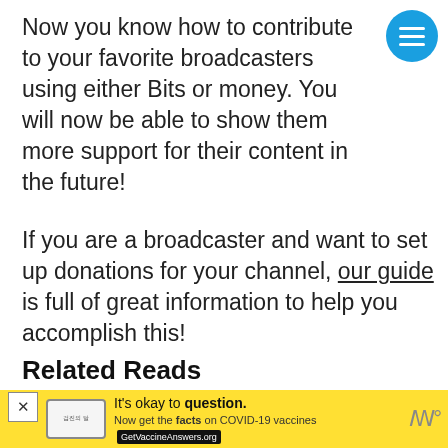[Figure (other): Circular blue menu button with three horizontal white lines (hamburger icon)]
Now you know how to contribute to your favorite broadcasters using either Bits or money. You will now be able to show them more support for their content in the future!
If you are a broadcaster and want to set up donations for your channel, our guide is full of great information to help you accomplish this!
Related Reads
[Figure (screenshot): Twitch logo on purple background]
[Figure (other): Advertisement banner: yellow background, logo on left, text 'It's okay to question. Now get the facts on COVID-19 vaccines GetVaccineAnswers.org', close button]